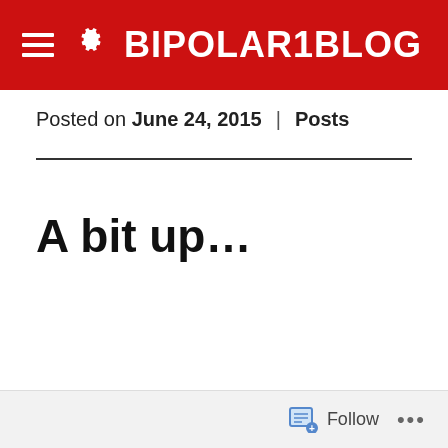BIPOLAR1BLOG
Posted on June 24, 2015 | Posts
A bit up...
Follow ...